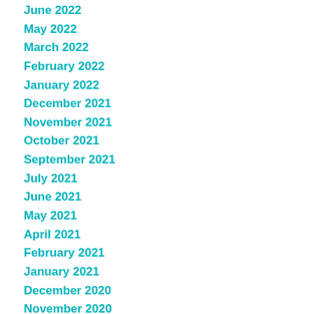June 2022
May 2022
March 2022
February 2022
January 2022
December 2021
November 2021
October 2021
September 2021
July 2021
June 2021
May 2021
April 2021
February 2021
January 2021
December 2020
November 2020
October 2020
September 2020